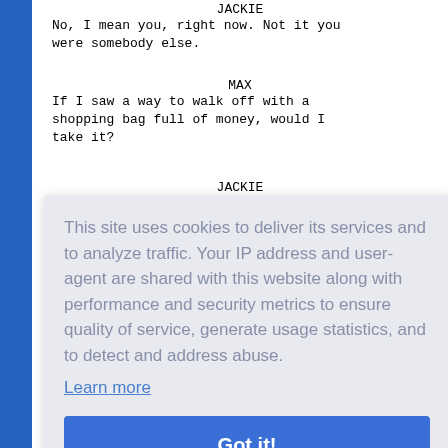JACKIE
No, I mean you, right now. Not it you were somebody else.
MAX
If I saw a way to walk off with a shopping bag full of money, would I take it?
JACKIE
You know where it came from. It's not
This site uses cookies to deliver its services and to analyze traffic. Your IP address and user-agent are shared with this website along with performance and security metrics to ensure quality of service, generate usage statistics, and to detect and address abuse.
Learn more
Got it!
MAX
I have to stand behind all my active